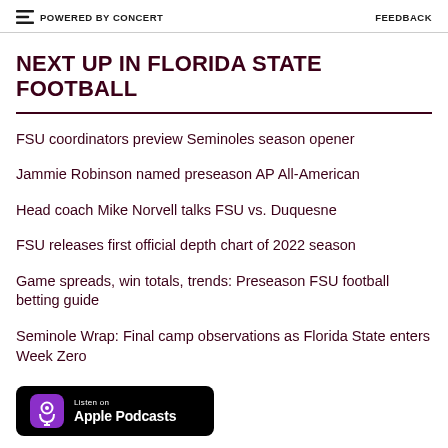POWERED BY CONCERT   FEEDBACK
NEXT UP IN FLORIDA STATE FOOTBALL
FSU coordinators preview Seminoles season opener
Jammie Robinson named preseason AP All-American
Head coach Mike Norvell talks FSU vs. Duquesne
FSU releases first official depth chart of 2022 season
Game spreads, win totals, trends: Preseason FSU football betting guide
Seminole Wrap: Final camp observations as Florida State enters Week Zero
[Figure (logo): Listen on Apple Podcasts badge with purple podcast icon on black background]